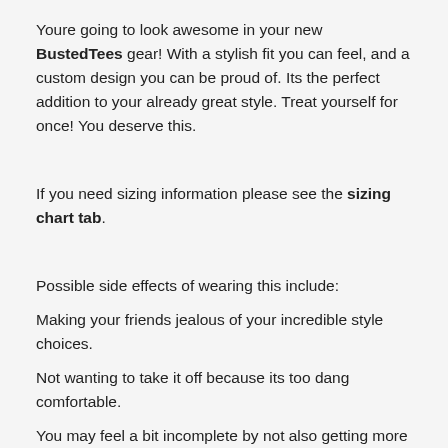Youre going to look awesome in your new BustedTees gear! With a stylish fit you can feel, and a custom design you can be proud of. Its the perfect addition to your already great style. Treat yourself for once! You deserve this.
If you need sizing information please see the sizing chart tab.
Possible side effects of wearing this include:
Making your friends jealous of your incredible style choices.
Not wanting to take it off because its too dang comfortable.
You may feel a bit incomplete by not also getting more colors.